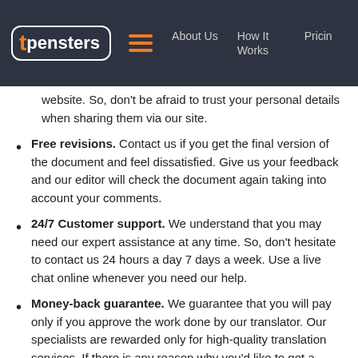tpensters | About Us | How It Works | Pricing
website. So, don't be afraid to trust your personal details when sharing them via our site.
Free revisions. Contact us if you get the final version of the document and feel dissatisfied. Give us your feedback and our editor will check the document again taking into account your comments.
24/7 Customer support. We understand that you may need our expert assistance at any time. So, don't hesitate to contact us 24 hours a day 7 days a week. Use a live chat online whenever you need our help.
Money-back guarantee. We guarantee that you will pay only if you approve the work done by our translator. Our specialists are rewarded only for high-quality translation services. If there is any reason why you'd like to get a